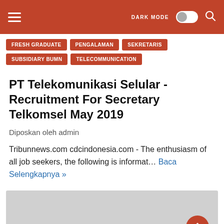DARK MODE  [toggle]  [search]
FRESH GRADUATE
PENGALAMAN
SEKRETARIS
SUBSIDIARY BUMN
TELECOMMUNICATION
PT Telekomunikasi Selular - Recruitment For Secretary Telkomsel May 2019
Diposkan oleh admin
Tribunnews.com cdcindonesia.com - The enthusiasm of all job seekers, the following is informat… Baca Selengkapnya »
[Figure (photo): Gray image placeholder at the bottom of the page]